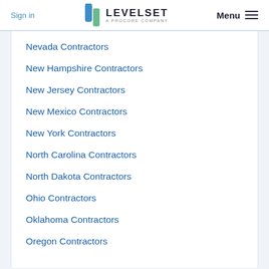Sign in | LEVELSET A PROCORE COMPANY | Menu
Nevada Contractors
New Hampshire Contractors
New Jersey Contractors
New Mexico Contractors
New York Contractors
North Carolina Contractors
North Dakota Contractors
Ohio Contractors
Oklahoma Contractors
Oregon Contractors